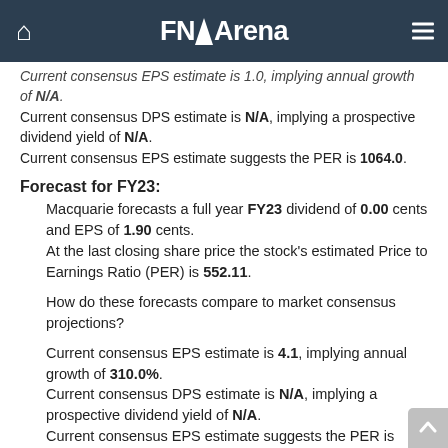FNArena
Current consensus EPS estimate is 1.0, implying annual growth of N/A.
Current consensus DPS estimate is N/A, implying a prospective dividend yield of N/A.
Current consensus EPS estimate suggests the PER is 1064.0.
Forecast for FY23:
Macquarie forecasts a full year FY23 dividend of 0.00 cents and EPS of 1.90 cents.
At the last closing share price the stock's estimated Price to Earnings Ratio (PER) is 552.11.
How do these forecasts compare to market consensus projections?
Current consensus EPS estimate is 4.1, implying annual growth of 310.0%.
Current consensus DPS estimate is N/A, implying a prospective dividend yield of N/A.
Current consensus EPS estimate suggests the PER is 259.5.
Market Sentiment: 0.8
All consensus data are updated until yesterday. FNArena's consensus calculations require a minimum of three sources